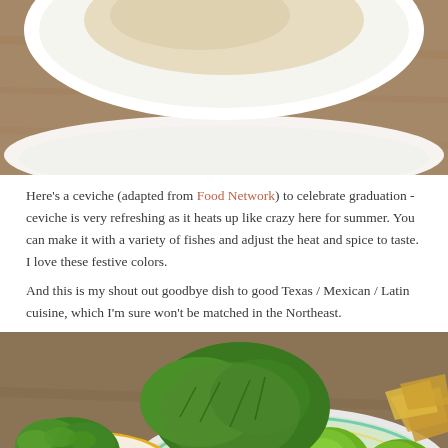[Figure (photo): Top portion of a food photo showing a white plate with light-colored food on a wooden table surface, cropped to show only the upper portion]
Here's a ceviche (adapted from Food Network) to celebrate graduation - ceviche is very refreshing as it heats up like crazy here for summer. You can make it with a variety of fishes and adjust the heat and spice to taste. I love these festive colors.
And this is my shout out goodbye dish to good Texas / Mexican / Latin cuisine, which I'm sure won't be matched in the Northeast.
[Figure (photo): Food photo showing a yellow bowl of ceviche with cilantro garnish and diced tomatoes, limes, fresh cilantro, and tortilla chips arranged on a colorful plate on a wooden table. A circular menu button icon is visible in the bottom right.]